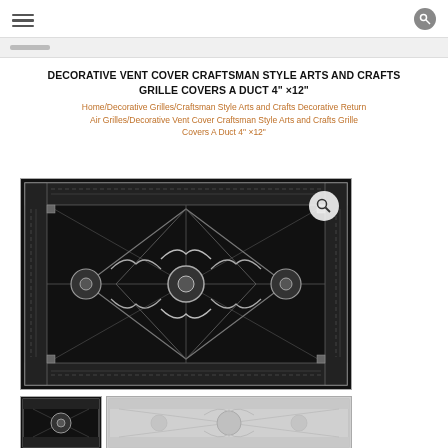[navigation header with hamburger menu and search icon]
DECORATIVE VENT COVER CRAFTSMAN STYLE ARTS AND CRAFTS GRILLE COVERS A DUCT 4" ×12"
Home/Decorative Grilles/Craftsman Style Arts and Crafts Decorative Return Air Grilles/Decorative Vent Cover Craftsman Style Arts and Crafts Grille Covers A Duct 4" ×12"
[Figure (photo): Decorative craftsman-style vent cover grille with ornate black metalwork pattern featuring fleur-de-lis and scroll designs on a dark background, shown in main large view and two thumbnail views below]